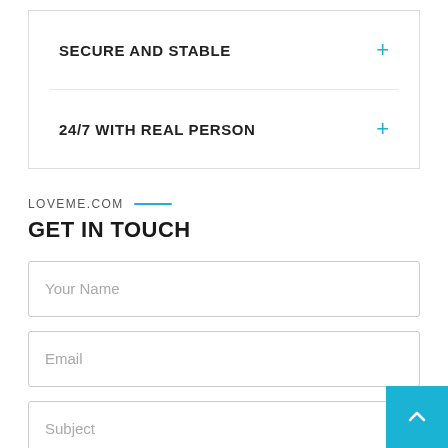SECURE AND STABLE
24/7 WITH REAL PERSON
LOVEME.COM
GET IN TOUCH
Your Name
Email
Subject